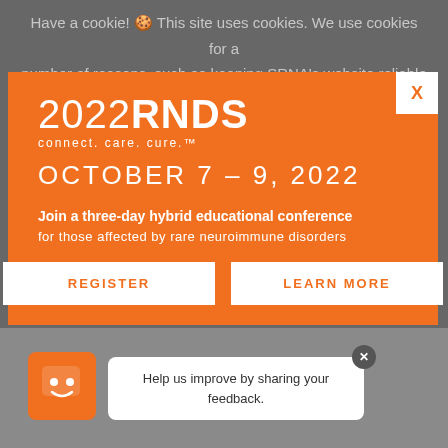Have a cookie! 🍪 This site uses cookies. We use cookies for a number of reasons, such as keeping SRNA's website reliable and secure, and providing social media features, and to analyze how our website is used. By continuing to browse the site, you are
[Figure (infographic): 2022 RNDS conference modal popup with orange background. Shows '2022RNDS connect. care. cure.' branding, 'OCTOBER 7 - 9, 2022' date, description text about three-day hybrid educational conference for rare neuroimmune disorders, and two white buttons: REGISTER and LEARN MORE. White X close button in top right.]
[Figure (infographic): Feedback chatbot widget: orange square icon with smiley face on the left, white speech bubble on the right saying 'Help us improve by sharing your feedback.' with a dark circular X close button.]